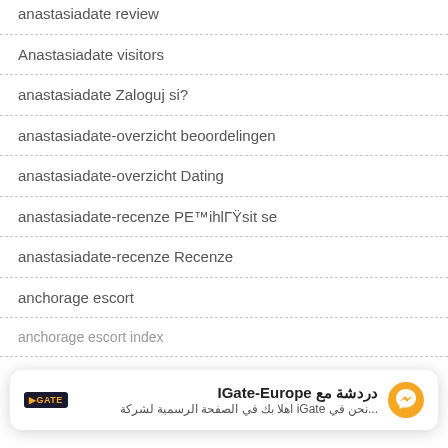anastasiadate review
Anastasiadate visitors
anastasiadate Zaloguj si?
anastasiadate-overzicht beoordelingen
anastasiadate-overzicht Dating
anastasiadate-recenze PE™ihlГŸsit se
anastasiadate-recenze Recenze
anchorage escort
anchorage escort index
[Figure (screenshot): Chat widget overlay for IGate-Europe Facebook Messenger chat, with logo, Arabic text 'دردشة مع IGate-Europe' and subtitle 'نحن في iGate اهلا بك في الصفحة الرسمية لشركة...']